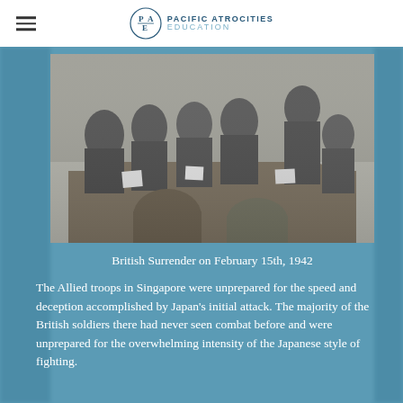PACIFIC ATROCITIES EDUCATION
[Figure (photo): Black and white historical photograph showing a group of military officers seated and standing around a table, apparently during a surrender negotiation or military meeting. British Surrender on February 15th, 1942.]
British Surrender on February 15th, 1942
The Allied troops in Singapore were unprepared for the speed and deception accomplished by Japan's initial attack. The majority of the British soldiers there had never seen combat before and were unprepared for the overwhelming intensity of the Japanese style of fighting.